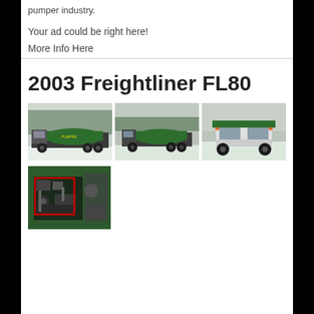pumper industry.
Your ad could be right here!
More Info Here
2003 Freightliner FL80
[Figure (photo): Three photos of a 2003 Freightliner FL80 septic/vacuum tank truck in snowy outdoor settings, shown from side and front angles. Truck has a large green tank.]
[Figure (photo): Close-up photo of the rear equipment compartment of the 2003 Freightliner FL80, showing pumping machinery inside a green compartment with a red-outlined inset detail box.]